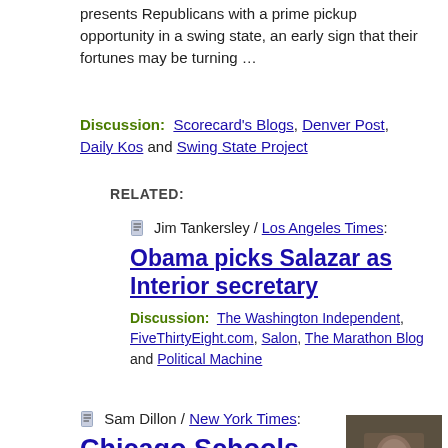presents Republicans with a prime pickup opportunity in a swing state, an early sign that their fortunes may be turning …
Discussion:  Scorecard's Blogs, Denver Post, Daily Kos and Swing State Project
RELATED:
Jim Tankersley / Los Angeles Times:
Obama picks Salazar as Interior secretary
Discussion:  The Washington Independent, FiveThirtyEight.com, Salon, The Marathon Blog and Political Machine
Sam Dillon / New York Times:
Chicago Schools Chief Is Obama's Education Pick
[Figure (photo): A man speaking passionately in a crowd at what appears to be a public event or rally, surrounded by people.]
—  Arne Duncan, the Chicago schools superintendent known